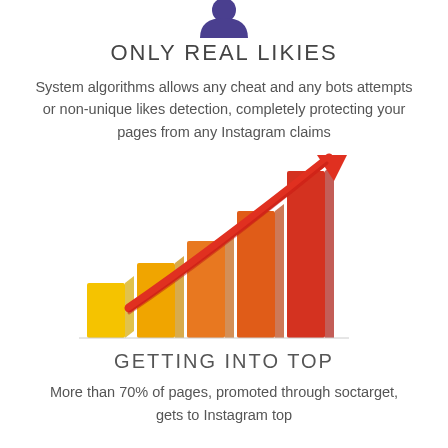[Figure (illustration): Purple icon of a person/user silhouette at the top of the page]
ONLY REAL LIKIES
System algorithms allows any cheat and any bots attempts or non-unique likes detection, completely protecting your pages from any Instagram claims
[Figure (infographic): Bar chart with ascending bars in yellow, orange, and red gradient colors with a large red arrow pointing upward to the top right, illustrating growth/getting into top]
GETTING INTO TOP
More than 70% of pages, promoted through soctarget, gets to Instagram top